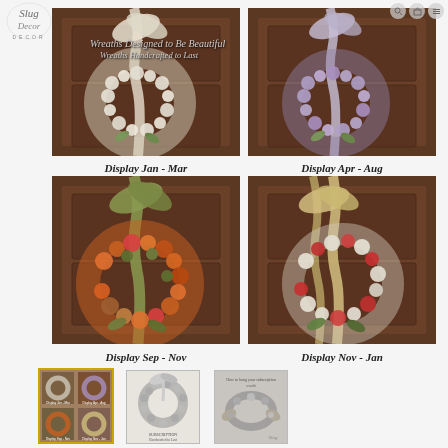[Figure (illustration): Logo: stylized script 'Slug Decor' with decorative font and DECOR underneath]
Wreaths Designed to Be Beautiful
Wreaths Handcrafted to Last
[Figure (photo): Wreath with white/cream flowers and ribbon on dark wood door - Display Jan - Mar]
Display Jan - Mar
[Figure (photo): Wreath with purple/lavender flowers and ribbon on dark wood door - Display Apr - Aug]
Display Apr - Aug
[Figure (photo): Wreath with orange/red/green autumn flowers and olive green ribbon on dark wood door - Display Sep - Nov]
Display Sep - Nov
[Figure (photo): Wreath with white/red/cream flowers and gold ribbon on dark wood door - Display Nov - Jan]
Display Nov - Jan
[Figure (photo): Small thumbnail: 4 wreaths collage with yellow border]
[Figure (photo): Small thumbnail: black and white wreath illustration]
[Figure (photo): Small thumbnail: black and white photo of person with wreath]